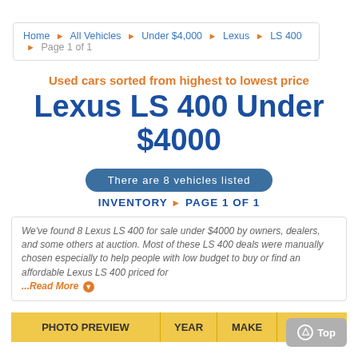Home > All Vehicles > Under $4,000 > Lexus > LS 400 > Page 1 of 1
Used cars sorted from highest to lowest price
Lexus LS 400 Under $4000
There are 8 vehicles listed
INVENTORY ▶ PAGE 1 OF 1
We've found 8 Lexus LS 400 for sale under $4000 by owners, dealers, and some others at auction. Most of these LS 400 deals were manually chosen especially to help people with low budget to buy or find an affordable Lexus LS 400 priced for ... Read More
| PHOTO PREVIEW | YEAR | MAKE | MODEL |
| --- | --- | --- | --- |